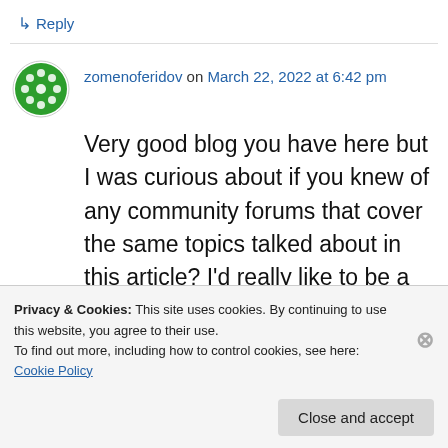↳ Reply
zomenoferidov on March 22, 2022 at 6:42 pm
Very good blog you have here but I was curious about if you knew of any community forums that cover the same topics talked about in this article? I'd really like to be a part of group where I can get advice from other experienced people that share the same interest. If you have any suggestions, please let me know. Many thanks!
Privacy & Cookies: This site uses cookies. By continuing to use this website, you agree to their use.
To find out more, including how to control cookies, see here: Cookie Policy
Close and accept